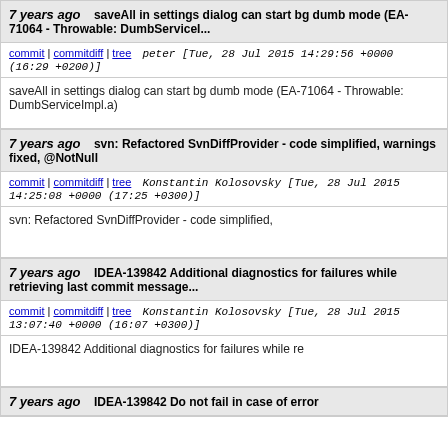7 years ago   saveAll in settings dialog can start bg dumb mode (EA-71064 - Throwable: DumbServiceI...
commit | commitdiff | tree   peter [Tue, 28 Jul 2015 14:29:56 +0000 (16:29 +0200)]
saveAll in settings dialog can start bg dumb mode (EA-71064 - Throwable: DumbServiceImpl.a)
7 years ago   svn: Refactored SvnDiffProvider - code simplified, warnings fixed, @NotNull
commit | commitdiff | tree   Konstantin Kolosovsky [Tue, 28 Jul 2015 14:25:08 +0000 (17:25 +0300)]
svn: Refactored SvnDiffProvider - code simplified,
7 years ago   IDEA-139842 Additional diagnostics for failures while retrieving last commit message...
commit | commitdiff | tree   Konstantin Kolosovsky [Tue, 28 Jul 2015 13:07:40 +0000 (16:07 +0300)]
IDEA-139842 Additional diagnostics for failures while re
7 years ago   IDEA-139842 Do not fail in case of error